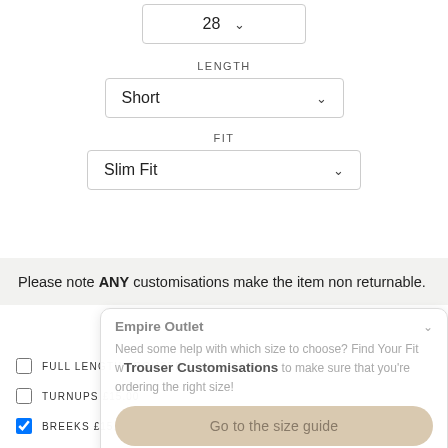28 ∨
LENGTH
Short ∨
FIT
Slim Fit ∨
Please note ANY customisations make the item non returnable.
Empire Outlet
Need some help with which size to choose? Find Your Fit w Trouser Customisations to make sure that you're ordering the right size!
FULL LENGTH TROUSER LINING £18.00
TURNUPS £15.00
BREEKS £15.00
Go to the size guide